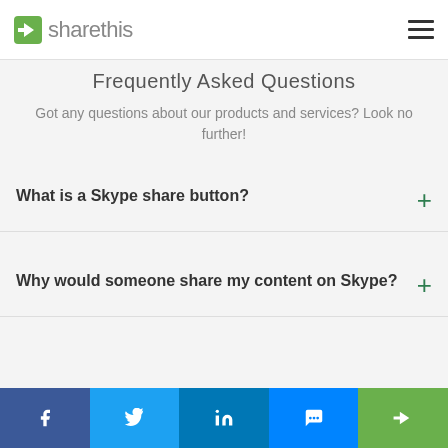sharethis
Frequently Asked Questions
Got any questions about our products and services? Look no further!
What is a Skype share button?
Why would someone share my content on Skype?
Social share bar: Facebook, Twitter, LinkedIn, Messenger, ShareThis